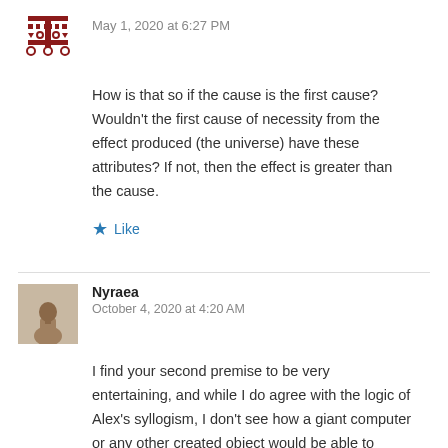May 1, 2020 at 6:27 PM
How is that so if the cause is the first cause? Wouldn't the first cause of necessity from the effect produced (the universe) have these attributes? If not, then the effect is greater than the cause.
★ Like
Nyraea
October 4, 2020 at 4:20 AM
I find your second premise to be very entertaining, and while I do agree with the logic of Alex's syllogism, I don't see how a giant computer or any other created object would be able to share the same quality as a being such as God. You can change the values and attributes of that computer to match that of God, but then that wouldn't be a